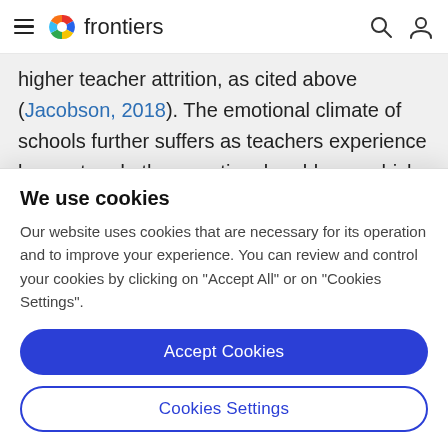frontiers
higher teacher attrition, as cited above (Jacobson, 2018). The emotional climate of schools further suffers as teachers experience burnout and other emotional problems, which impacts student engagement and learning (Anderson and Iwanicki, 1984; Brackett et al.
We use cookies
Our website uses cookies that are necessary for its operation and to improve your experience. You can review and control your cookies by clicking on "Accept All" or on "Cookies Settings".
Accept Cookies
Cookies Settings